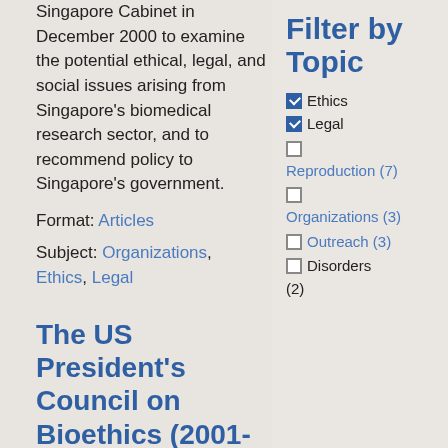Singapore Cabinet in December 2000 to examine the potential ethical, legal, and social issues arising from Singapore's biomedical research sector, and to recommend policy to Singapore's government.
Format: Articles
Subject: Organizations, Ethics, Legal
The US President's Council on Bioethics (2001-
Filter by Topic
Ethics (checked)
Legal (checked)
Reproduction (7) (unchecked)
Organizations (3) (unchecked)
Outreach (3) (unchecked)
Disorders (2) (unchecked)